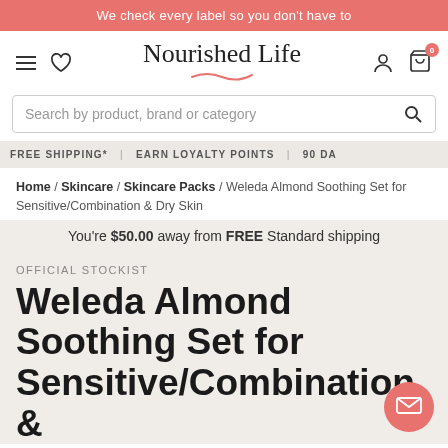We check every label so you don't have to
[Figure (logo): Nourished Life brand logo with decorative underline swash]
Search by product, brand or category
FREE SHIPPING* | EARN LOYALTY POINTS | 90 DA...
Home / Skincare / Skincare Packs / Weleda Almond Soothing Set for Sensitive/Combination & Dry Skin
You're $50.00 away from FREE Standard shipping
OFFICIAL STOCKIST
Weleda Almond Soothing Set for Sensitive/Combination &